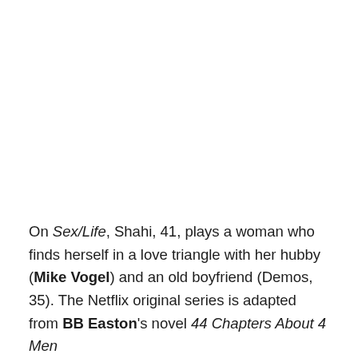On Sex/Life, Shahi, 41, plays a woman who finds herself in a love triangle with her hubby (Mike Vogel) and an old boyfriend (Demos, 35). The Netflix original series is adapted from BB Easton's novel 44 Chapters About 4 Men